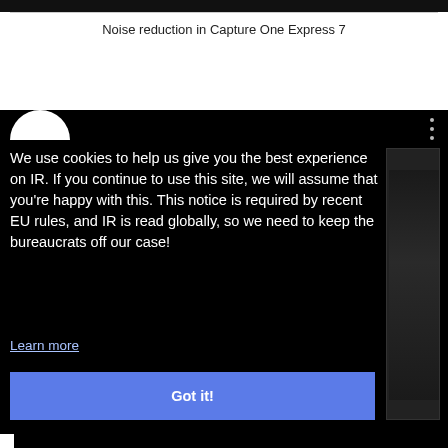Noise reduction in Capture One Express 7
[Figure (screenshot): Screenshot of a website showing a cookie consent overlay on a dark background. The overlay contains a white semicircle logo at top left, a three-dot menu icon at top right, a cookie notice message, a 'Learn more' link, and a blue 'Got it!' button. A dark image strip is visible on the right side.]
We use cookies to help us give you the best experience on IR. If you continue to use this site, we will assume that you're happy with this. This notice is required by recent EU rules, and IR is read globally, so we need to keep the bureaucrats off our case!
Learn more
Got it!